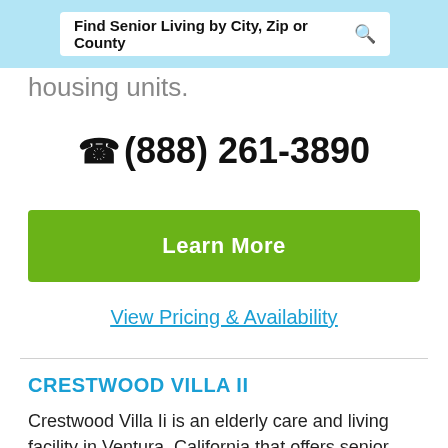Find Senior Living by City, Zip or County
housing units.
(888) 261-3890
Learn More
View Pricing & Availability
CRESTWOOD VILLA II
Crestwood Villa Ii is an elderly care and living facility in Ventura, California that offers senior citizens amenities that include on-site parking,